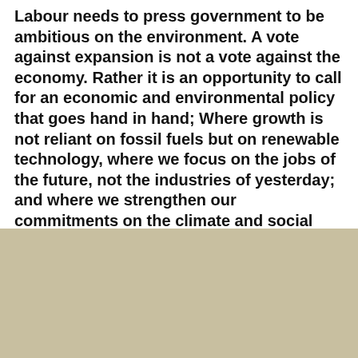Labour needs to press government to be ambitious on the environment. A vote against expansion is not a vote against the economy. Rather it is an opportunity to call for an economic and environmental policy that goes hand in hand; Where growth is not reliant on fossil fuels but on renewable technology, where we focus on the jobs of the future, not the industries of yesterday; and where we strengthen our commitments on the climate and social justice, as well as on economic growth. But to do this Labour MPs must oppose Heathrow expansion
[Figure (photo): Cookie consent overlay on top of a photograph showing barbwire fence with an airplane in background, tan/beige tones, with a darker right panel and a dark bottom strip]